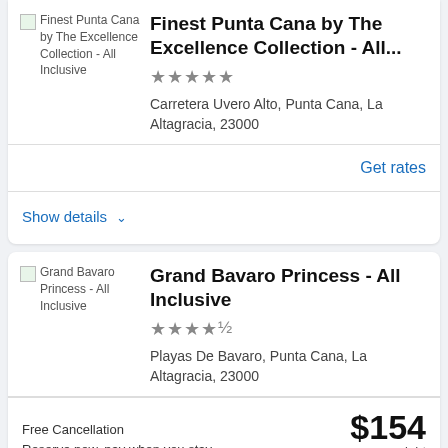[Figure (screenshot): Broken image placeholder for Finest Punta Cana by The Excellence Collection - All Inclusive]
Finest Punta Cana by The Excellence Collection - All...
★★★★★ (5 stars)
Carretera Uvero Alto, Punta Cana, La Altagracia, 23000
Get rates
Show details ∨
[Figure (screenshot): Broken image placeholder for Grand Bavaro Princess - All Inclusive]
Grand Bavaro Princess - All Inclusive
★★★★½ (4.5 stars)
Playas De Bavaro, Punta Cana, La Altagracia, 23000
Free Cancellation
Reserve now, pay when you stay
$154 per night